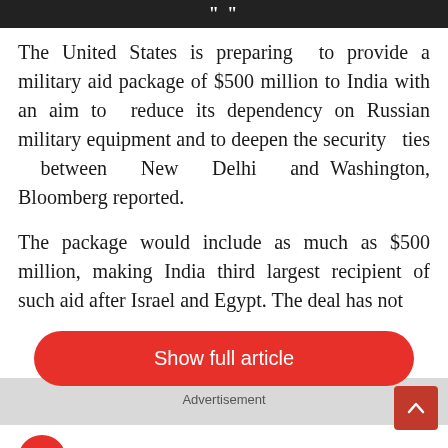[Figure (photo): Dark banner image with quotation mark icon at top]
The United States is preparing to provide a military aid package of $500 million to India with an aim to reduce its dependency on Russian military equipment and to deepen the security ties between New Delhi and Washington, Bloomberg reported.
The package would include as much as $500 million, making India third largest recipient of such aid after Israel and Egypt. The deal has not
[Figure (other): Show full article red rounded button]
Advertisement